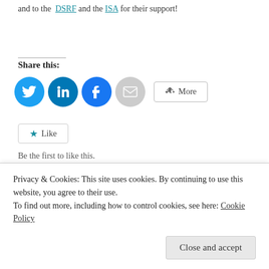and to the DSRF and the ISA for their support!
Share this:
[Figure (infographic): Social sharing buttons: Twitter (blue circle), LinkedIn (blue circle), Facebook (blue circle), Email (grey circle), More button]
[Figure (infographic): Like button with star icon]
Be the first to like this.
This entry was posted in coaching, Coaching and Sports Science, safety, SUP, surf lifesaving, Surfing and tagged adapt, coach,
Privacy & Cookies: This site uses cookies. By continuing to use this website, you agree to their use.
To find out more, including how to control cookies, see here: Cookie Policy